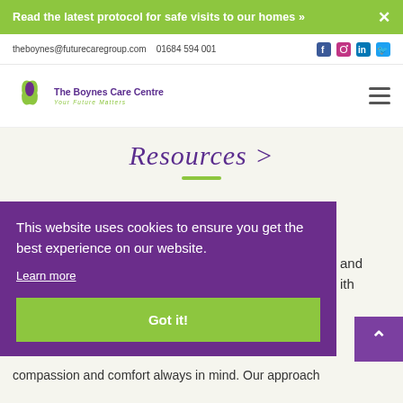Read the latest protocol for safe visits to our homes »
theboynes@futurecaregroup.com   01684 594 001
[Figure (logo): The Boynes Care Centre logo with green and purple leaf/flower icon and text 'Your Future Matters']
Resources >
This website uses cookies to ensure you get the best experience on our website.
Learn more
Got it!
compassion and comfort always in mind. Our approach